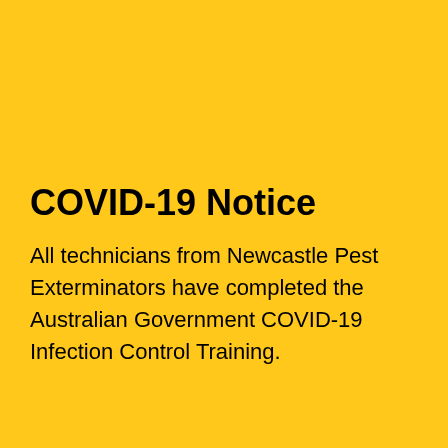COVID-19 Notice
All technicians from Newcastle Pest Exterminators have completed the Australian Government COVID-19 Infection Control Training.